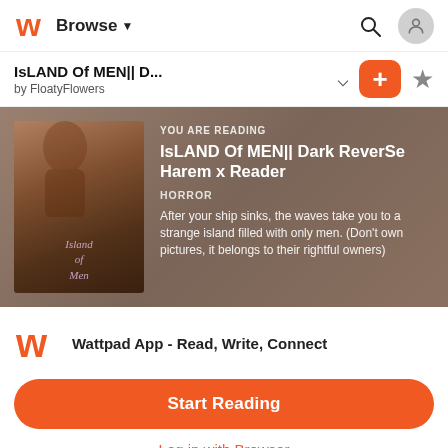Browse
IsLAND Of MEN|| D...
by FloatyFlowers
[Figure (screenshot): Wattpad book banner showing 'IsLAND OF MEN|| DARK REVERSE HAREM x READER' with a cover image of a person with red hair, genre: HORROR, description: After your ship sinks, the waves take you to a strange island filled with only men. (Don't own pictures, it belongs to their rightful owners)]
Wattpad App - Read, Write, Connect
Start Reading
Log in with Browser